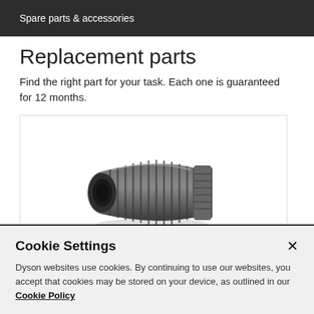Spare parts & accessories
Replacement parts
Find the right part for your task. Each one is guaranteed for 12 months.
[Figure (photo): A dark grey ribbed cylindrical replacement part (flexible hose/bellows component) with threaded ends, shown at an angle on a white background.]
Cookie Settings
Dyson websites use cookies. By continuing to use our websites, you accept that cookies may be stored on your device, as outlined in our Cookie Policy